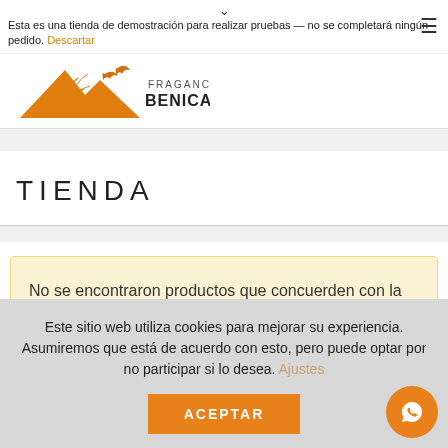Esta es una tienda de demostración para realizar pruebas — no se completará ningún pedido. Descartar
[Figure (logo): Fragancias Benicadell logo with orange mountain and bird silhouette]
TIENDA
No se encontraron productos que concuerden con la selección.
Este sitio web utiliza cookies para mejorar su experiencia. Asumiremos que está de acuerdo con esto, pero puede optar por no participar si lo desea. Ajustes
ACEPTAR